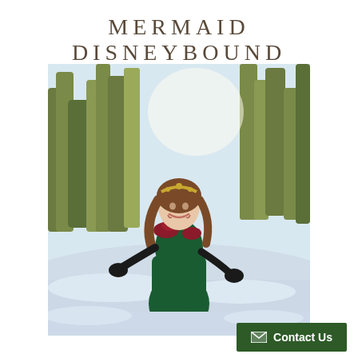MERMAID DISNEYBOUND
[Figure (photo): A young woman wearing a dark green velvet mermaid-style gown with red floral embellishments at the shoulders, black gloves, and a gold crown/headband. She is posing outdoors in a snowy landscape with pine trees in the background, smiling and spreading her arms slightly.]
Contact Us